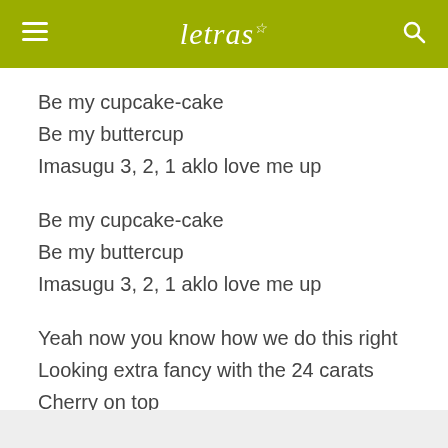letras
Be my cupcake-cake
Be my buttercup
Imasugu 3, 2, 1 aklo love me up
Be my cupcake-cake
Be my buttercup
Imasugu 3, 2, 1 aklo love me up
Yeah now you know how we do this right
Looking extra fancy with the 24 carats
Cherry on top
And it just taste amazing